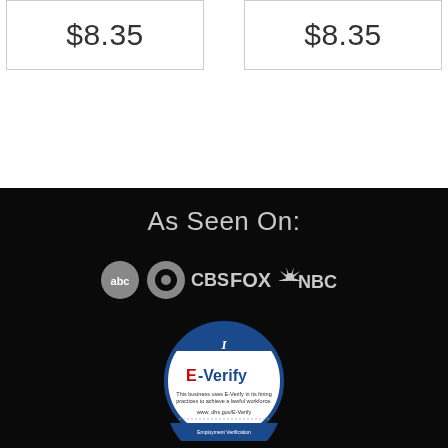| $8.35 | $8.35 |
As Seen On:
[Figure (logo): Network logos: ABC, CBS, FOX, NBC in white on black background]
[Figure (logo): E-Verify badge: circular badge with 'I E-Verify' text. 'This business uses E-Verify in its hiring practices to achieve a lawful workforce. www.dhs.gov/E-Verify']